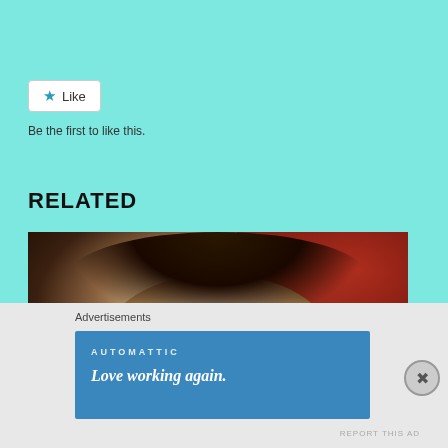[Figure (screenshot): Top teal background section of a blog/website page]
[Figure (screenshot): Like button widget — star icon followed by 'Like' text in a white rounded-border box]
Be the first to like this.
RELATED
[Figure (photo): Vintage sepia-toned black and white photograph of a person with curly hair against a red background]
Advertisements
[Figure (screenshot): Automattic advertisement banner with text 'Love working again.' on a blue background]
REPORT THIS AD